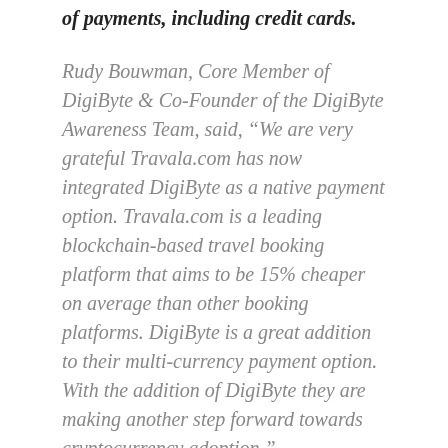of payments, including credit cards.
Rudy Bouwman, Core Member of DigiByte & Co-Founder of the DigiByte Awareness Team, said, “We are very grateful Travala.com has now integrated DigiByte as a native payment option. Travala.com is a leading blockchain-based travel booking platform that aims to be 15% cheaper on average than other booking platforms. DigiByte is a great addition to their multi-currency payment option. With the addition of DigiByte they are making another step forward towards cryptocurrency adoption.”
###
About Travala.com:
Offering an average of 15% savings on bookings,